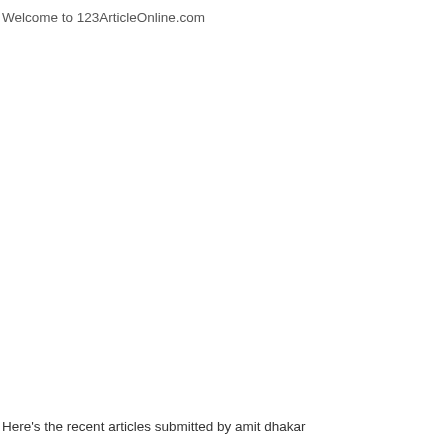Welcome to 123ArticleOnline.com
Here's the recent articles submitted by amit dhakar